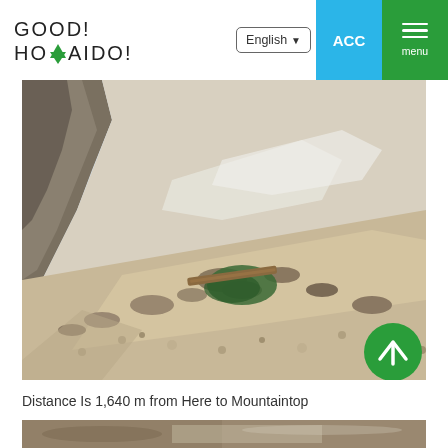GOOD! HOKKAIDO!
[Figure (photo): Rocky scree mountain slope with patches of snow and green moss, wooden plank visible on trail, steep mountain face in background under pale sky]
Distance Is 1,640 m from Here to Mountaintop
[Figure (photo): Partial view of volcanic ground or rocky terrain, bottom strip]